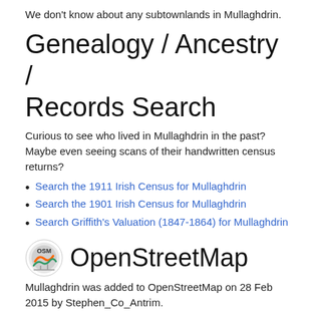We don't know about any subtownlands in Mullaghdrin.
Genealogy / Ancestry / Records Search
Curious to see who lived in Mullaghdrin in the past? Maybe even seeing scans of their handwritten census returns?
Search the 1911 Irish Census for Mullaghdrin
Search the 1901 Irish Census for Mullaghdrin
Search Griffith's Valuation (1847-1864) for Mullaghdrin
OpenStreetMap
Mullaghdrin was added to OpenStreetMap on 28 Feb 2015 by Stephen_Co_Antrim.
View
[Figure (other): View on OpenStreetMap.org button]
[Figure (other): Show Changes button]
Edit
[Figure (other): JOSM button]
[Figure (other): iD button]
[Figure (other): Potlatch button]
[Figure (other): Level0 button]